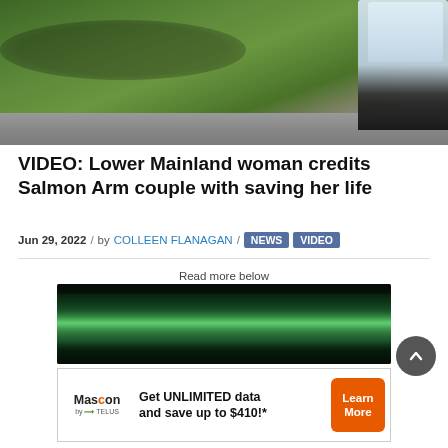[Figure (photo): Outdoor photo showing a person in a wheelchair on a paved path with green grass lawn in background]
VIDEO: Lower Mainland woman credits Salmon Arm couple with saving her life
Jun 29, 2022 / by COLLEEN FLANAGAN / NEWS VIDEO
Read more below
[Figure (photo): Aurora borealis / northern lights photograph showing green lights over dark sky and treeline]
[Figure (advertisement): Mascon by TELUS ad: Get UNLIMITED data and save up to $410!* with Learn More button]